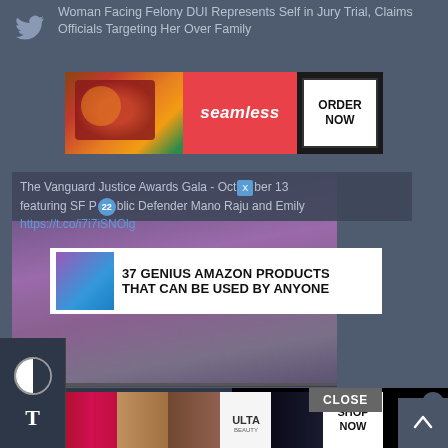[Figure (screenshot): Screenshot of a news/media website showing overlapping UI elements: a Twitter/news feed item, a Seamless food delivery advertisement, a tweet overlay about Vanguard Justice Awards Gala, an Amazon product promotion overlay, a Quick Links navigation sidebar, a black video player area with loading spinner, an Ulta beauty advertisement, and bottom page controls including contrast toggle and font size buttons.]
Woman Facing Felony DUI Represents Self in Jury Trial, Claims Officials Targeting Her Over Family
seamless ORDER NOW
The Vanguard Justice Awards Gala - October 13 featuring SF Public Defender Mano Raju and Emily
https://t.co/i7i7iSNOlg
37 GENIUS AMAZON PRODUCTS THAT CAN BE USED BY ANYONE
QUICK LINKS
Court Watch
Archives
Advertise
Submissions
Donate
Editorial Board
Con...
Con...
CLOSE
[Figure (screenshot): Ulta Beauty advertisement banner with makeup imagery panels and SHOP NOW button]